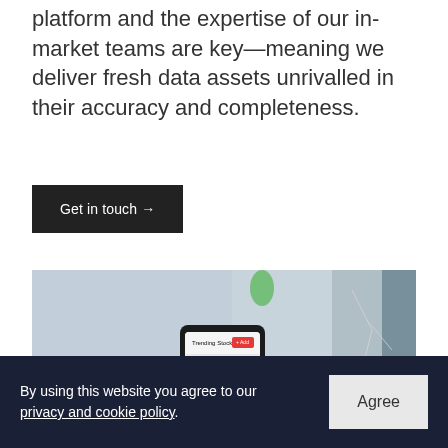platform and the expertise of our in-market teams are key—meaning we deliver fresh data assets unrivalled in their accuracy and completeness.
Get in touch →
[Figure (photo): A hand holding a smartphone displaying an app interface with trending results, photographed inside a vehicle. A cracked window reflection visible in the background.]
By using this website you agree to our privacy and cookie policy.